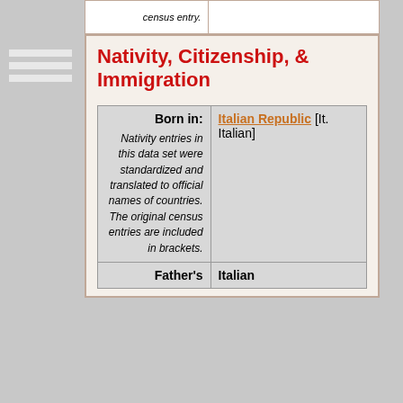|  | census entry. |
| --- | --- |
|  |
Nativity, Citizenship, & Immigration
| Born in: | Italian Republic [It. Italian] |
| --- | --- |
| Nativity entries in this data set were standardized and translated to official names of countries. The original census entries are included in brackets. |  |
| Father's | Italian |